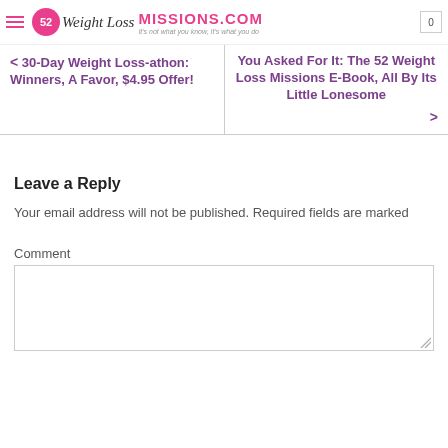52 Weight Loss MISSIONS.COM It's not what you know, It's what you do
< 30-Day Weight Loss-athon: Winners, A Favor, $4.95 Offer!
You Asked For It: The 52 Weight Loss Missions E-Book, All By Its Little Lonesome >
Leave a Reply
Your email address will not be published. Required fields are marked
Comment